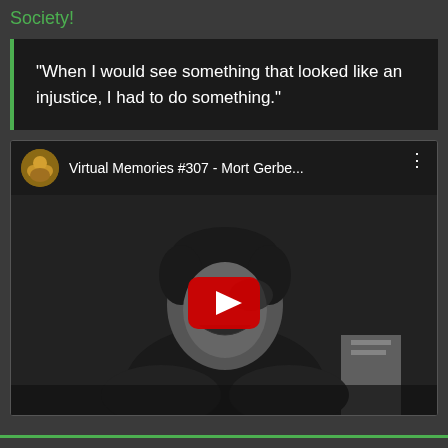Society!
“When I would see something that looked like an injustice, I had to do something.”
[Figure (screenshot): YouTube video thumbnail showing 'Virtual Memories #307 - Mort Gerbe...' with a channel icon, video title, three-dot menu, and a play button overlay on a black-and-white photo of an elderly man laughing.]